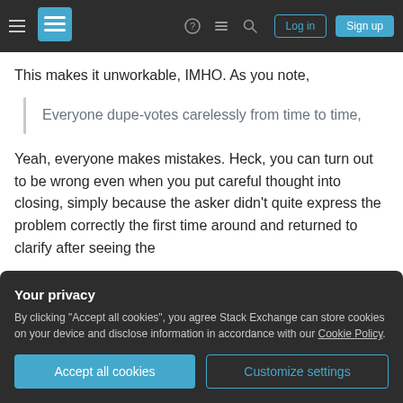Stack Exchange navigation bar with hamburger menu, logo, icons, Log in and Sign up buttons
This makes it unworkable, IMHO. As you note,
Everyone dupe-votes carelessly from time to time,
Yeah, everyone makes mistakes. Heck, you can turn out to be wrong even when you put careful thought into closing, simply because the asker didn't quite express the problem correctly the first time around and returned to clarify after seeing the
Your privacy
By clicking "Accept all cookies", you agree Stack Exchange can store cookies on your device and disclose information in accordance with our Cookie Policy.
Accept all cookies
Customize settings